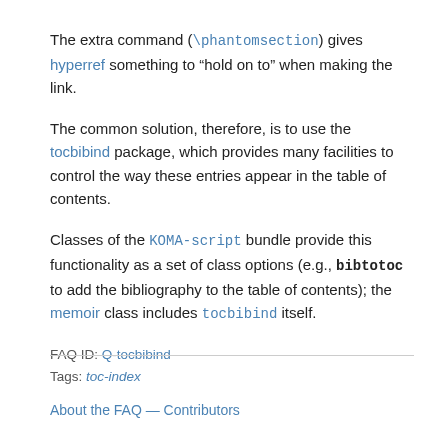The extra command (\phantomsection) gives hyperref something to “hold on to” when making the link.
The common solution, therefore, is to use the tocbibind package, which provides many facilities to control the way these entries appear in the table of contents.
Classes of the KOMA-script bundle provide this functionality as a set of class options (e.g., bibtotoc to add the bibliography to the table of contents); the memoir class includes tocbibind itself.
FAQ ID: Q-tocbibind
Tags: toc-index
About the FAQ — Contributors